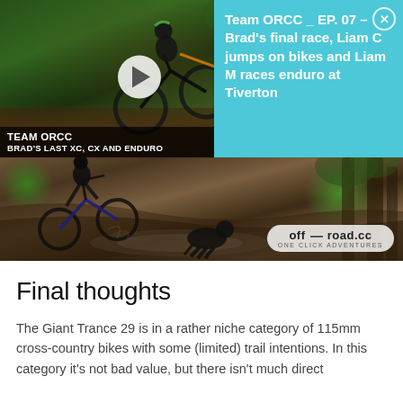[Figure (screenshot): Video thumbnail showing a mountain biker in a forest with play button overlay. Label reads 'TEAM ORCC / BRAD'S LAST XC, CX AND ENDURO'. Adjacent info panel in teal/cyan background reads 'Team ORCC _ EP. 07 – Brad's final race, Liam C jumps on bikes and Liam M races enduro at Tiverton' with a close (X) button.]
[Figure (photo): Main photo of a mountain biker riding through a muddy forest trail with a black dog running alongside. off-road.cc ONE CLICK ADVENTURES watermark visible bottom right.]
Final thoughts
The Giant Trance 29 is in a rather niche category of 115mm cross-country bikes with some (limited) trail intentions. In this category it's not bad value, but there isn't much direct